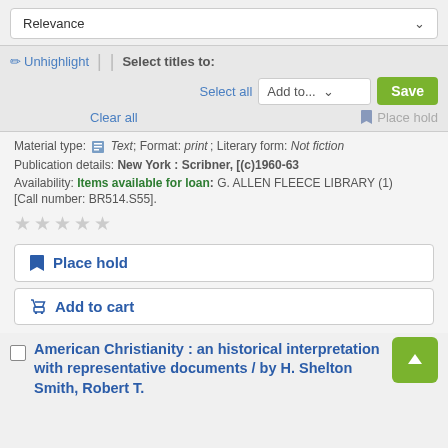Relevance
✏ Unhighlight | Select titles to: Select all Add to... Save Clear all 🔖 Place hold
Material type: Text; Format: print; Literary form: Not fiction
Publication details: New York : Scribner, [(c)1960-63
Availability: Items available for loan: G. ALLEN FLEECE LIBRARY (1) [Call number: BR514.S55].
Place hold
Add to cart
American Christianity : an historical interpretation with representative documents / by H. Shelton Smith, Robert T.